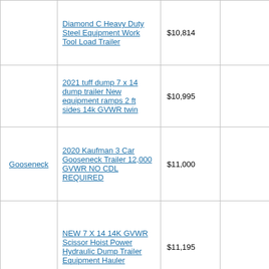|  | Diamond C Heavy Duty Steel Equipment Work Tool Load Trailer | $10,814 |  |  |
|  | 2021 tuff dump 7 x 14 dump trailer New equipment ramps 2 ft sides 14k GVWR twin | $10,995 |  |  |
| Gooseneck | 2020 Kaufman 3 Car Gooseneck Trailer 12,000 GVWR NO CDL REQUIRED | $11,000 |  |  |
|  | NEW 7 X 14 14K GVWR Scissor Hoist Power Hydraulic Dump Trailer Equipment Hauler | $11,195 |  |  |
|  | 2022 tuff dump 7 x 14 dump trailer New equipment ramps 2 ft sides 14k GVWR twin | $11,495 |  |  |